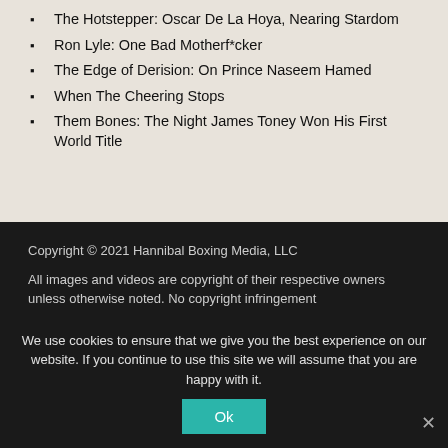The Hotstepper: Oscar De La Hoya, Nearing Stardom
Ron Lyle: One Bad Motherf*cker
The Edge of Derision: On Prince Naseem Hamed
When The Cheering Stops
Them Bones: The Night James Toney Won His First World Title
Copyright © 2021 Hannibal Boxing Media, LLC
All images and videos are copyright of their respective owners unless otherwise noted. No copyright infringement
We use cookies to ensure that we give you the best experience on our website. If you continue to use this site we will assume that you are happy with it.